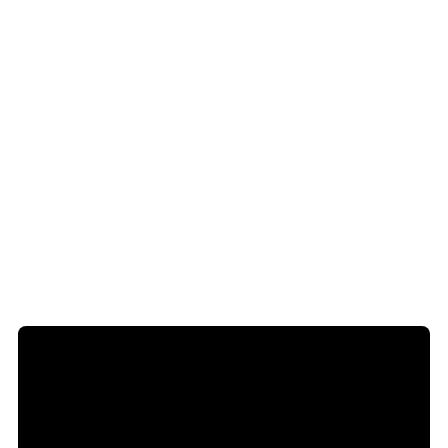[Figure (screenshot): Black code block showing nginx config include directives: include /usr/local/nginx/conf/staticfiles.conf; include /usr/local/nginx/conf/php.conf; #include /usr/local/nginx/conf/phpstatus.conf; include /usr/local/nginx/conf/drop.conf;]